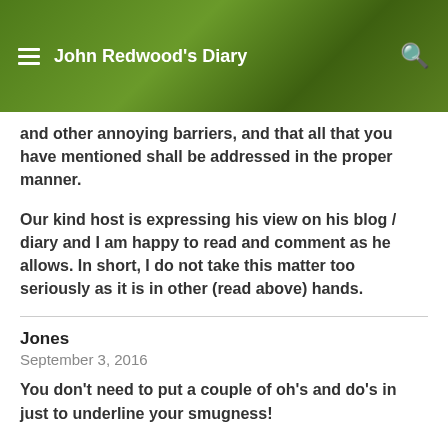John Redwood's Diary
and other annoying barriers, and that all that you have mentioned shall be addressed in the proper manner.
Our kind host is expressing his view on his blog / diary and I am happy to read and comment as he allows. In short, I do not take this matter too seriously as it is in other (read above) hands.
Jones
September 3, 2016
You don’t need to put a couple of oh’s and do’s in just to underline your smugness!